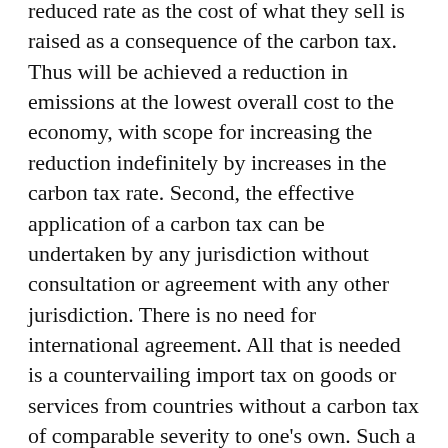reduced rate as the cost of what they sell is raised as a consequence of the carbon tax. Thus will be achieved a reduction in emissions at the lowest overall cost to the economy, with scope for increasing the reduction indefinitely by increases in the carbon tax rate. Second, the effective application of a carbon tax can be undertaken by any jurisdiction without consultation or agreement with any other jurisdiction. There is no need for international agreement. All that is needed is a countervailing import tax on goods or services from countries without a carbon tax of comparable severity to one's own. Such a provision not only protects the home industry from unfair foreign competition, but provides other countries with an incentive to introduce their own carbon tax.
Sadly, the beauty of the carbon tax mechanism, which we spelled out eighteen years ago, has yet to be recognized by any national government. It is encouraging, however, that the new government of Canada has promised a national carbon tax, although the value of such a measure will depend upon the details. There must be no exemptions for favored industries or regions and it must be accompanied by